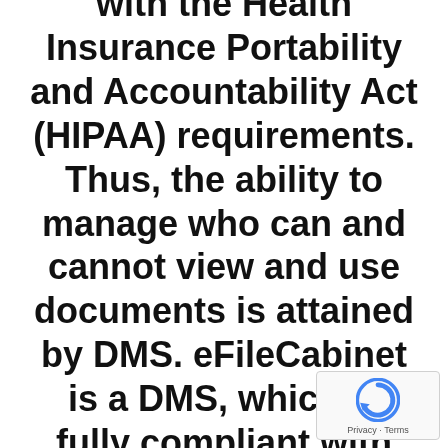with the Health Insurance Portability and Accountability Act (HIPAA) requirements. Thus, the ability to manage who can and cannot view and use documents is attained by DMS. eFileCabinet is a DMS, which is fully compliant with standards set forth by HIPAA FINRA, and the SEC.